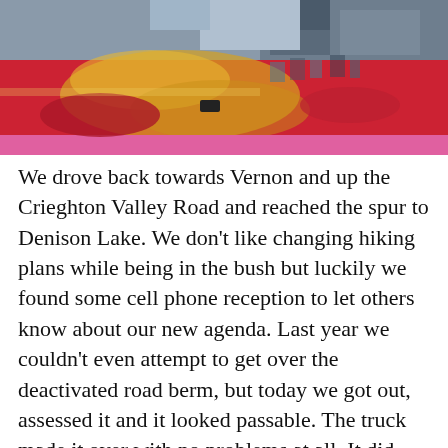[Figure (photo): Close-up photo of a red truck hood with yellow reflections, viewed from above, with a building or structure visible in the background]
We drove back towards Vernon and up the Crieghton Valley Road and reached the spur to Denison Lake. We don't like changing hiking plans while being in the bush but luckily we found some cell phone reception to let others know about our new agenda. Last year we couldn't even attempt to get over the deactivated road berm, but today we got out, assessed it and it looked passable. The truck made it over with no problems at all. It did only gain us about 2 km one way before the road reaches another berm and narrows to a double wide walking path. So here we parked and geared up to head onwards with hopes of finding the lake.